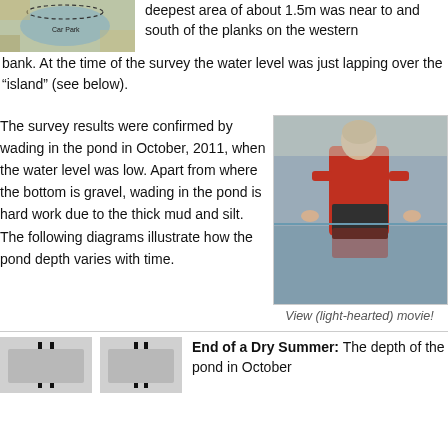[Figure (map): Aerial/map image of pond area with Car Park label and dashed oval marking]
deepest area of about 1.5m was near to and south of the planks on the western bank. At the time of the survey the water level was just lapping over the “island” (see below).
The survey results were confirmed by wading in the pond in October, 2011, when the water level was low. Apart from where the bottom is gravel, wading in the pond is hard work due to the thick mud and silt. The following diagrams illustrate how the pond depth varies with time.
[Figure (photo): Person in red dry suit wading in muddy pond water]
View (light-hearted) movie!
[Figure (schematic): Two diagrams showing pond depth cross-sections]
End of a Dry Summer: The depth of the pond in October